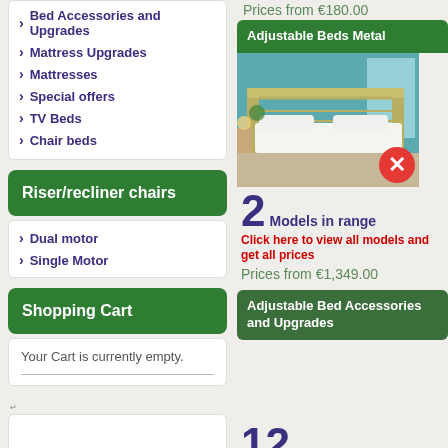Bed Accessories and Upgrades
Mattress Upgrades
Mattresses
Special offers
TV Beds
Chair beds
Riser/recliner chairs
Dual motor
Single Motor
Shopping Cart
Your Cart is currently empty.
Deliveries
Prices from €180.00
[Figure (screenshot): Adjustable Beds Metal product card with metal bed image, 2 Models in range, Click here to view all models and get all prices, Prices from €1,349.00]
[Figure (screenshot): Adjustable Bed Accessories and Upgrades product card header]
12 Models in range
Click here to view all models and get all prices